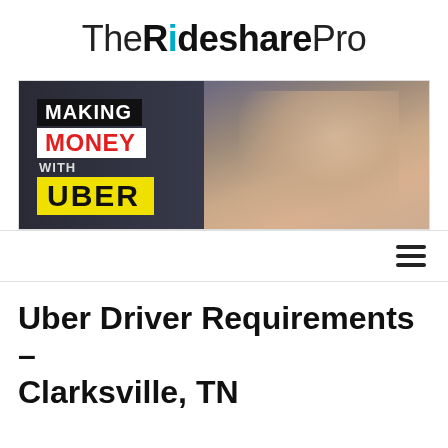The Rideshare Pro
[Figure (photo): Promotional banner image showing a man smiling in a car with text overlay: MAKING MONEY WITH UBER on a dark background]
[Figure (other): Hamburger menu icon (three horizontal lines) on the right side]
Uber Driver Requirements – Clarksville, TN